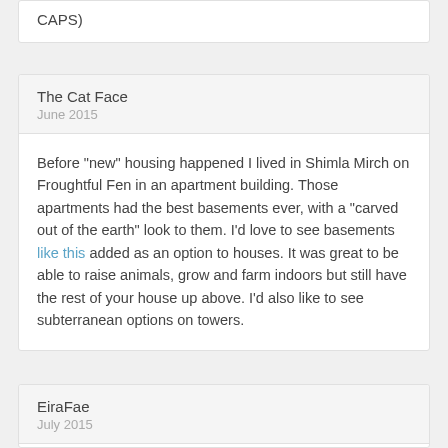CAPS)
The Cat Face
June 2015
Before "new" housing happened I lived in Shimla Mirch on Froughtful Fen in an apartment building. Those apartments had the best basements ever, with a "carved out of the earth" look to them. I'd love to see basements like this added as an option to houses. It was great to be able to raise animals, grow and farm indoors but still have the rest of your house up above. I'd also like to see subterranean options on towers.
EiraFae
July 2015